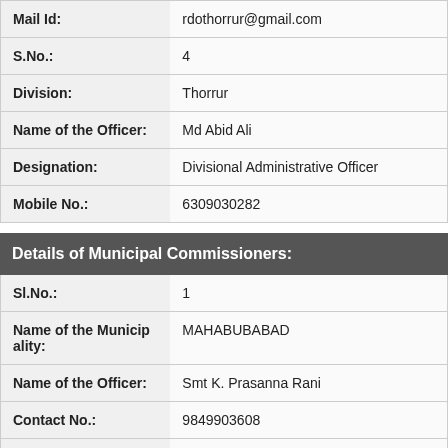| Field | Value |
| --- | --- |
| Mail Id: | rdothorrur@gmail.com |
| S.No.: | 4 |
| Division: | Thorrur |
| Name of the Officer: | Md Abid Ali |
| Designation: | Divisional Administrative Officer |
| Mobile No.: | 6309030282 |
Details of Municipal Commissioners:
| Field | Value |
| --- | --- |
| Sl.No.: | 1 |
| Name of the Municipality: | MAHABUBABAD |
| Name of the Officer: | Smt K. Prasanna Rani |
| Contact No.: | 9849903608 |
| Email ID: | mc_mabd@yahoo.com |